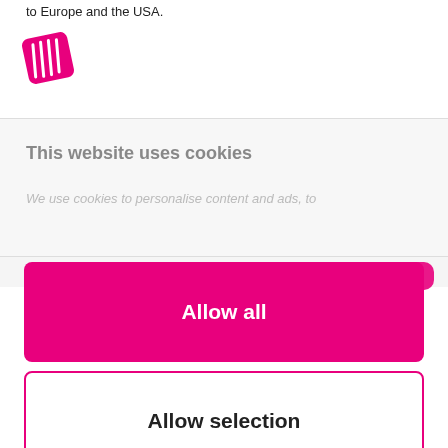to Europe and the USA.
[Figure (logo): Red/pink diagonal striped badge logo icon]
This website uses cookies
We use cookies to personalise content and ads, to
[Figure (other): Pink rounded rectangle arc visible at top right of modal]
Allow all
Allow selection
Deny
Powered by Cookiebot by Usercentrics
complex orders. Materials planning for example, is a much more